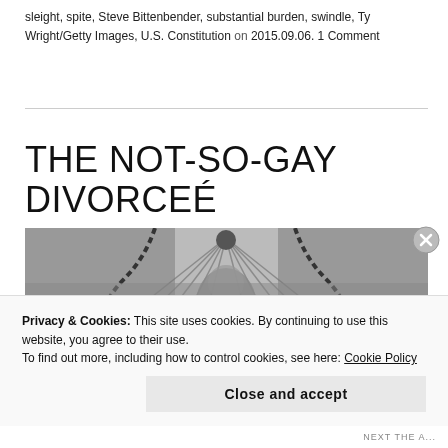sleight, spite, Steve Bittenbender, substantial burden, swindle, Ty Wright/Getty Images, U.S. Constitution on 2015.09.06. 1 Comment
THE NOT-SO-GAY DIVORCEÉ
[Figure (photo): Black and white photograph of the scales of justice with chains, ornate decorative architectural detail in background]
Privacy & Cookies: This site uses cookies. By continuing to use this website, you agree to their use.
To find out more, including how to control cookies, see here: Cookie Policy
Close and accept